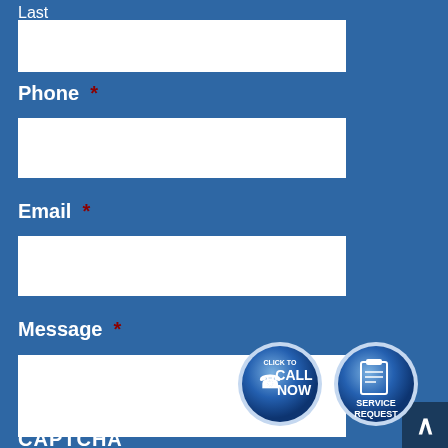Last
Phone *
Email *
Message *
CAPTCHA
[Figure (illustration): Two circular buttons: 'Click to Call Now' with phone icon and 'Service Request' with clipboard icon, blue gradient style]
[Figure (illustration): Back to top arrow button, dark blue square in bottom right corner]